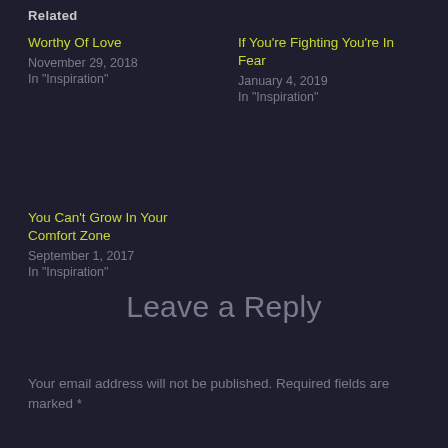Related
Worthy Of Love
November 29, 2018
In "Inspiration"
If You're Fighting You're In Fear
January 4, 2019
In "Inspiration"
You Can't Grow In Your Comfort Zone
September 1, 2017
In "Inspiration"
Leave a Reply
Your email address will not be published. Required fields are marked *